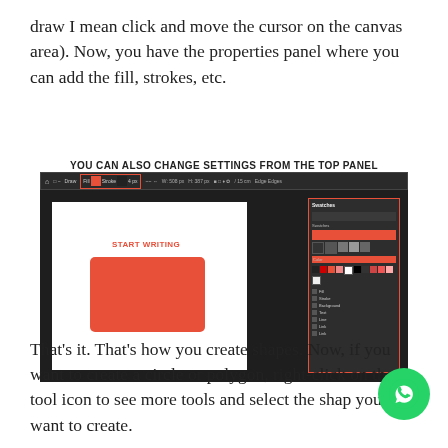draw I mean click and move the cursor on the canvas area). Now, you have the properties panel where you can add the fill, strokes, etc.
YOU CAN ALSO CHANGE SETTINGS FROM THE TOP PANEL
[Figure (screenshot): Screenshot of a design application (likely Affinity Designer or similar) showing a toolbar at the top with fill/stroke controls highlighted in a red box, and a canvas area with a red rounded rectangle shape labeled 'START WRITING', alongside a properties/colors panel on the right side with a red border.]
That's it. That's how you create shapes. Now, if you want to create a circle or polygon, right-click on the s tool icon to see more tools and select the shape you want to create.